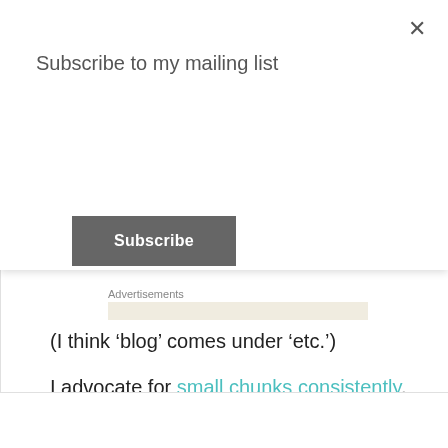Subscribe to my mailing list
Subscribe
Advertisements
(I think ‘blog’ comes under ‘etc.’)
I advocate for small chunks consistently, but even that can become a stretch!
Privacy & Cookies: This site uses cookies. By continuing to use this website, you agree to their use.
To find out more, including how to control cookies, see here: Cookie Policy
Close and accept